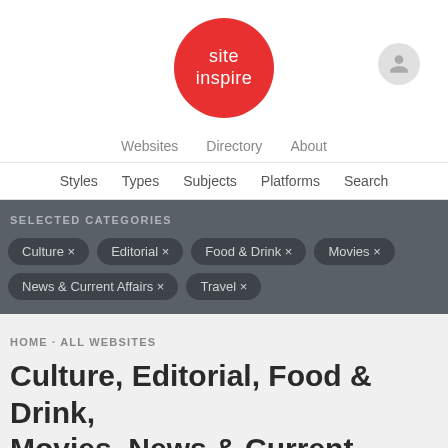[Figure (logo): SiteInspire logo — red circle with white text 'site inspire']
Websites · Directory · About
Styles · Types · Subjects · Platforms · Search
SELECTED CATEGORIES
Culture ×
Editorial ×
Food & Drink ×
Movies ×
News & Current Affairs ×
Travel ×
HOME · ALL WEBSITES
Culture, Editorial, Food & Drink, Movies, News & Current Affairs, and Travel websites